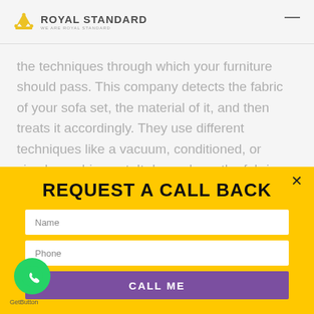ROYAL STANDARD
the techniques through which your furniture should pass. This company detects the fabric of your sofa set, the material of it, and then treats it accordingly. They use different techniques like a vacuum, conditioned, or simply washing out. It depends on the fabric and
REQUEST A CALL BACK
Name
Phone
CALL ME